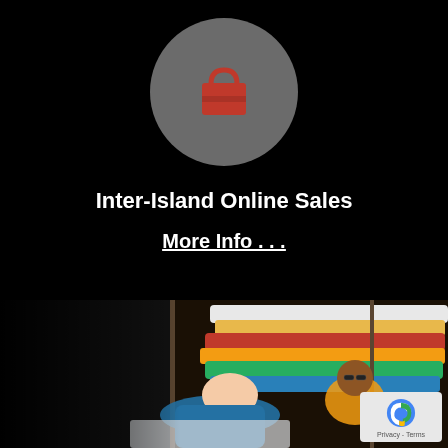[Figure (logo): Gray circle with a red shopping bag icon in the center]
Inter-Island Online Sales
More Info . . .
[Figure (photo): Two men in a dimly lit room with colorful surfboards. One man in a blue long-sleeve shirt leans forward, and another man in a yellow t-shirt sits in the background.]
[Figure (logo): reCAPTCHA badge with blue logo and Privacy - Terms text]